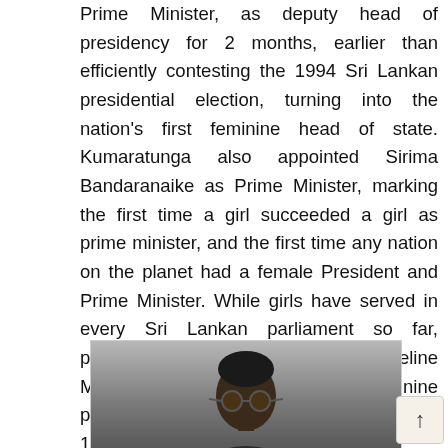Prime Minister, as deputy head of presidency for 2 months, earlier than efficiently contesting the 1994 Sri Lankan presidential election, turning into the nation's first feminine head of state. Kumaratunga also appointed Sirima Bandaranaike as Prime Minister, marking the first time a girl succeeded a girl as prime minister, and the first time any nation on the planet had a female President and Prime Minister. While girls have served in every Sri Lankan parliament so far, proportions have been low. Adeline Molamure became the primary feminine parliamentarian when she was elected in 1931.
[Figure (photo): A person wearing round sunglasses, photographed from the shoulders up, against a grey background.]